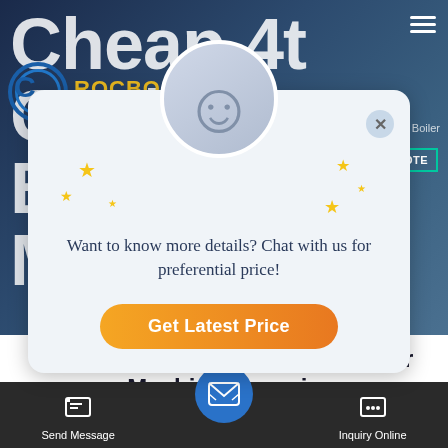[Figure (screenshot): Website screenshot showing ROCBO boiler company hero banner with large text 'Cheap 4t Coal Boiler Machine' in dark blue background]
[Figure (infographic): Chat popup overlay with customer service avatar, stars, message 'Want to know more details? Chat with us for preferential price!' and an orange gradient 'Get Latest Price' button]
Commercial Cheap 4t Coal Boiler Machine Georgia
[Figure (screenshot): Bottom navigation bar with WhatsApp sticker label, Send Message icon, centered blue email button, and Inquiry Online icon on dark background]